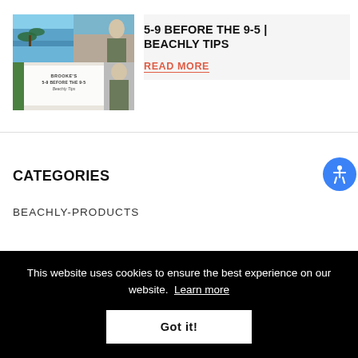[Figure (photo): Collage of beach/lifestyle photos with text overlay reading BROOKE'S 5-9 BEFORE THE 9-5 Beachly Tips]
5-9 BEFORE THE 9-5 | BEACHLY TIPS
READ MORE
CATEGORIES
BEACHLY-PRODUCTS
This website uses cookies to ensure the best experience on our website. Learn more
Got it!